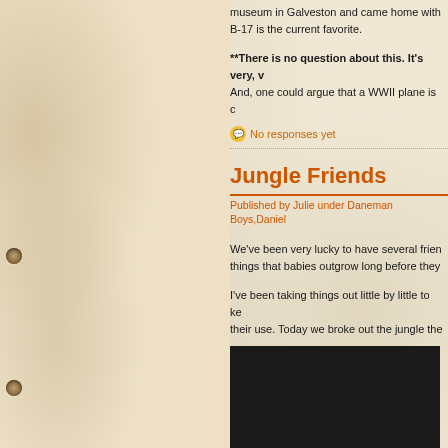museum in Galveston and came home with... B-17 is the current favorite.
**There is no question about this. It's very, v... And, one could argue that a WWII plane is c...
No responses yet
Jungle Friends
Published by Julie under Daneman Boys, Daniel...
We've been very lucky to have several frien... things that babies outgrow long before they...
I've been taking things out little by little to ke... their use. Today we broke out the jungle the...
[Figure (photo): Dark/black rectangular photo area at bottom of page]